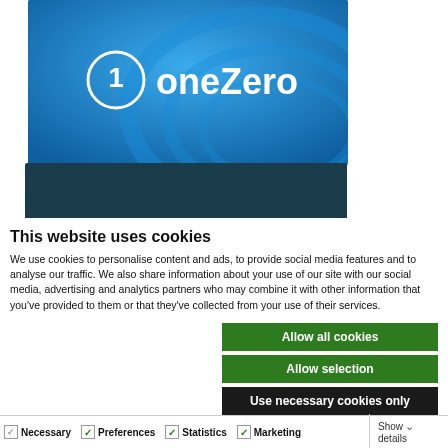[Figure (logo): oneZero logo on blue circular background with white text and circle icon]
This website uses cookies
We use cookies to personalise content and ads, to provide social media features and to analyse our traffic. We also share information about your use of our site with our social media, advertising and analytics partners who may combine it with other information that you've provided to them or that they've collected from your use of their services.
Allow all cookies
Allow selection
Use necessary cookies only
Necessary  Preferences  Statistics  Marketing  Show details